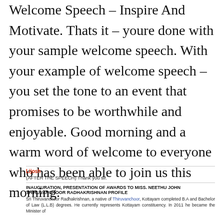Welcome Speech – Inspire And Motivate. Thats it – youre done with your sample welcome speech. With your example of welcome speech – you set the tone to an event that promises to be worthwhile and enjoyable. Good morning and a warm word of welcome to everyone who has been able to join us this morning.
Lijosh
(AFTER THE SPEECH) Thank you sir.
INAUGURATION, PRESENTATION OF AWARDS TO MISS. NEETHU JOHN THIRUVANCHOOR RADHAKRISHNAN PROFILE
Sri Thiruvanchoor Radhakrishnan, a native of Thiruvanchoor, Kottayam completed B.A and Bachelor of Law (L.L.B) degrees. He currently represents Kottayam constituency. In 2011 he became the Minister of